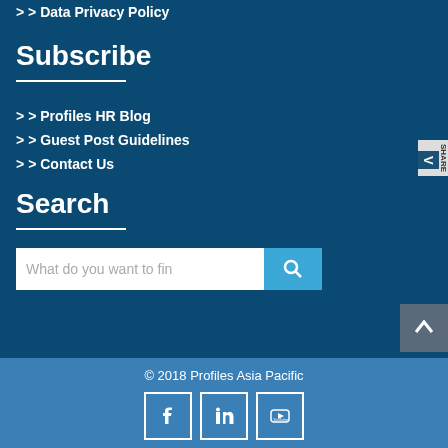> Data Privacy Policy
Subscribe
> Profiles HR Blog
> Guest Post Guidelines
> Contact Us
Search
What do you want to fin
© 2018 Profiles Asia Pacific